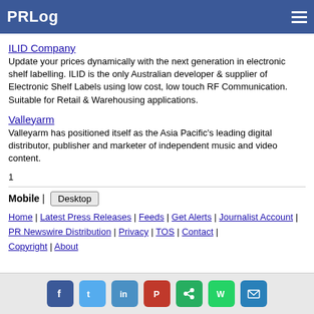PRLog
ILID Company
Update your prices dynamically with the next generation in electronic shelf labelling. ILID is the only Australian developer & supplier of Electronic Shelf Labels using low cost, low touch RF Communication. Suitable for Retail & Warehousing applications.
Valleyarm
Valleyarm has positioned itself as the Asia Pacific's leading digital distributor, publisher and marketer of independent music and video content.
1
Mobile | Desktop  Home | Latest Press Releases | Feeds | Get Alerts | Journalist Account | PR Newswire Distribution | Privacy | TOS | Contact | Copyright | About